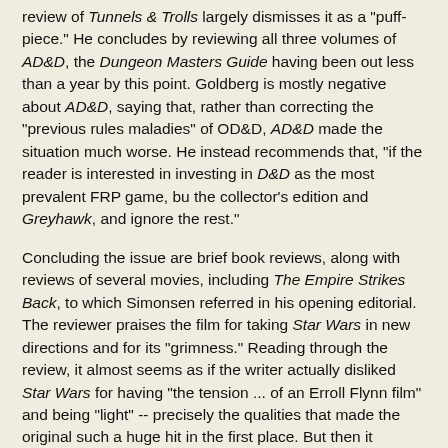review of Tunnels & Trolls largely dismisses it as a "puff-piece." He concludes by reviewing all three volumes of AD&D, the Dungeon Masters Guide having been out less than a year by this point. Goldberg is mostly negative about AD&D, saying that, rather than correcting the "previous rules maladies" of OD&D, AD&D made the situation much worse. He instead recommends that, "if the reader is interested in investing in D&D as the most prevalent FRP game, bu the collector's edition and Greyhawk, and ignore the rest."
Concluding the issue are brief book reviews, along with reviews of several movies, including The Empire Strikes Back, to which Simonsen referred in his opening editorial. The reviewer praises the film for taking Star Wars in new directions and for its "grimness." Reading through the review, it almost seems as if the writer actually disliked Star Wars for having "the tension ... of an Erroll Flynn film" and being "light" -- precisely the qualities that made the original such a huge hit in the first place. But then it wouldn't be an Ares magazine review if it didn't pour on the macho posturing.